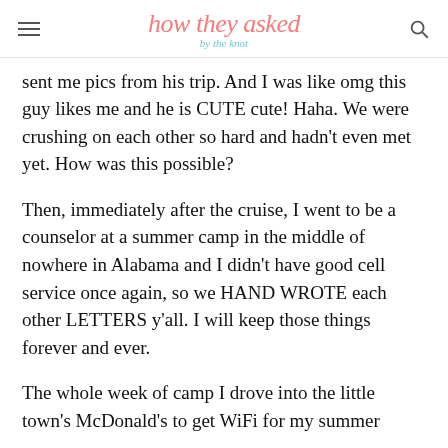how they asked by the knot
sent me pics from his trip. And I was like omg this guy likes me and he is CUTE cute! Haha. We were crushing on each other so hard and hadn’t even met yet. How was this possible?
Then, immediately after the cruise, I went to be a counselor at a summer camp in the middle of nowhere in Alabama and I didn’t have good cell service once again, so we HAND WROTE each other LETTERS y’all. I will keep those things forever and ever.
The whole week of camp I drove into the little town’s McDonald’s to get WiFi for my summer